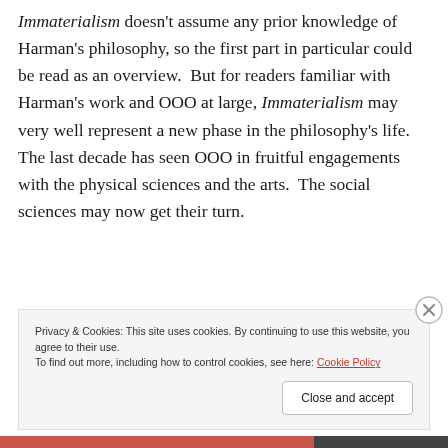Immaterialism doesn't assume any prior knowledge of Harman's philosophy, so the first part in particular could be read as an overview.  But for readers familiar with Harman's work and OOO at large, Immaterialism may very well represent a new phase in the philosophy's life.  The last decade has seen OOO in fruitful engagements with the physical sciences and the arts.  The social sciences may now get their turn.
Privacy & Cookies: This site uses cookies. By continuing to use this website, you agree to their use.
To find out more, including how to control cookies, see here: Cookie Policy
Close and accept